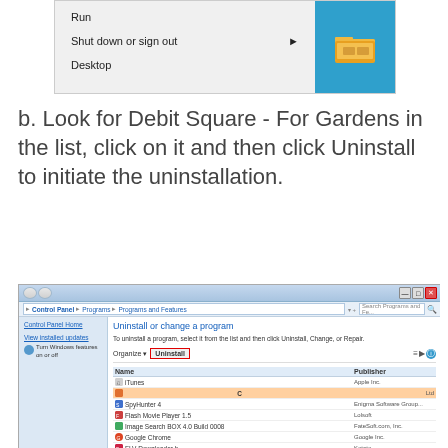[Figure (screenshot): Windows 8/8.1 Start menu context menu showing Run, Shut down or sign out, and Desktop options, with blue tile panel on the right showing a folder icon]
b. Look for Debit Square - For Gardens in the list, click on it and then click Uninstall to initiate the uninstallation.
[Figure (screenshot): Windows 7 Control Panel Programs and Features window showing Uninstall or change a program with a list of installed programs including iTunes, SpyHunter 4, Flash Movie Player 1.5, Image Search BOX 4.0 Build 0008, Google Chrome, FLV Downloader b, Microsoft .NET Framework 4 Client Profile. The Uninstall button is highlighted with a red border.]